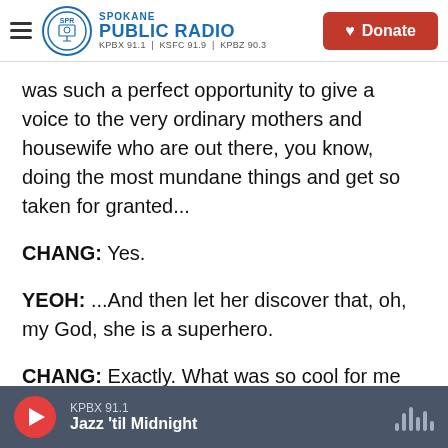SPOKANE PUBLIC RADIO | KPBX 91.1 | KSFC 91.9 | KPBZ 90.3 | Donate
was such a perfect opportunity to give a voice to the very ordinary mothers and housewife who are out there, you know, doing the most mundane things and get so taken for granted...
CHANG: Yes.
YEOH: ...And then let her discover that, oh, my God, she is a superhero.
CHANG: Exactly. What was so cool for me was to see an unglamorous Chinese woman - the kind of woman who might be invisible to people on the bus
KPBX 91.1 | Jazz 'til Midnight